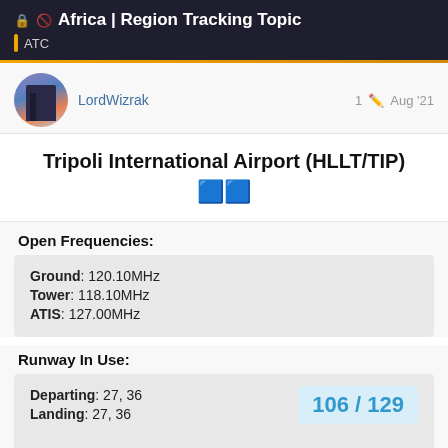Africa | Region Tracking Topic
ATC
LordWizrak
1 Aug '21
Tripoli International Airport (HLLT/TIP)
Open Frequencies:
Ground: 120.10MHz
Tower: 118.10MHz
ATIS: 127.00MHz
Runway In Use:
Departing: 27, 36
Landing: 27, 36
106 / 129